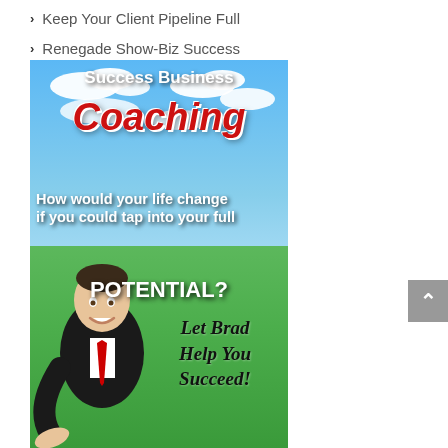Keep Your Client Pipeline Full
Renegade Show-Biz Success
[Figure (illustration): Success Business Coaching advertisement banner. Blue sky with clouds background, green grass field. Text: 'Success Business' (white bold), 'Coaching' (red bold italic large), 'How would your life change if you could tap into your full POTENTIAL?' (white bold). Handwritten text: 'Let Brad Help You Succeed!' Man in black suit with red tie pointing with open palm. ]